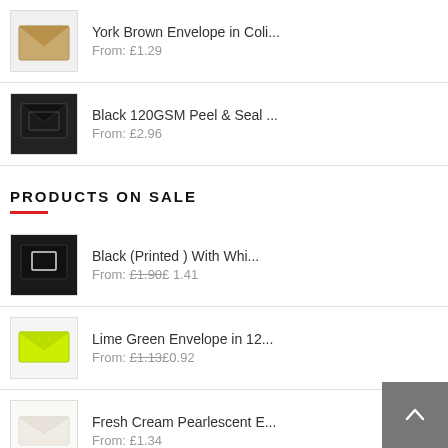York Brown Envelope in Coli... From: £1.29
Black 120GSM Peel & Seal ... From: £2.96
PRODUCTS ON SALE
Black (Printed) With Whi... From: £1.90 £1.41
Lime Green Envelope in 12... From: £1.13 £0.92
Fresh Cream Pearlescent E... From: £1.34